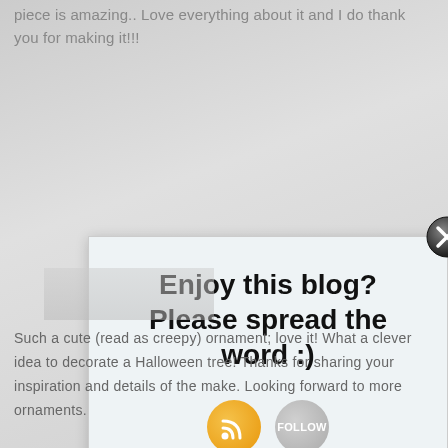piece is amazing.. Love everything about it and I do thank you for making it!!!
[Figure (screenshot): Modal popup with text 'Enjoy this blog? Please spread the word :)' and social share icons (RSS and Follow buttons), with a close button in the upper right corner]
Such a cute (read as creepy) ornament; love it! What a clever idea to decorate a Halloween tree! Thanks for sharing your inspiration and details of the make. Looking forward to more ornaments.